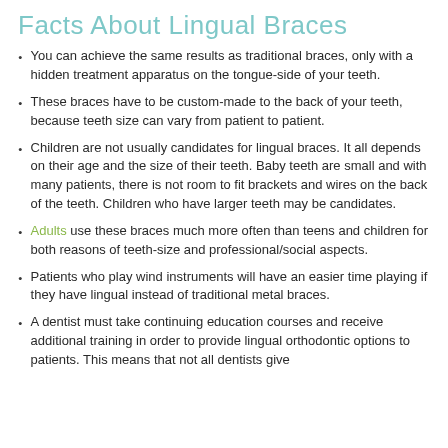Facts About Lingual Braces
You can achieve the same results as traditional braces, only with a hidden treatment apparatus on the tongue-side of your teeth.
These braces have to be custom-made to the back of your teeth, because teeth size can vary from patient to patient.
Children are not usually candidates for lingual braces. It all depends on their age and the size of their teeth. Baby teeth are small and with many patients, there is not room to fit brackets and wires on the back of the teeth. Children who have larger teeth may be candidates.
Adults use these braces much more often than teens and children for both reasons of teeth-size and professional/social aspects.
Patients who play wind instruments will have an easier time playing if they have lingual instead of traditional metal braces.
A dentist must take continuing education courses and receive additional training in order to provide lingual orthodontic options to patients. This means that not all dentists give